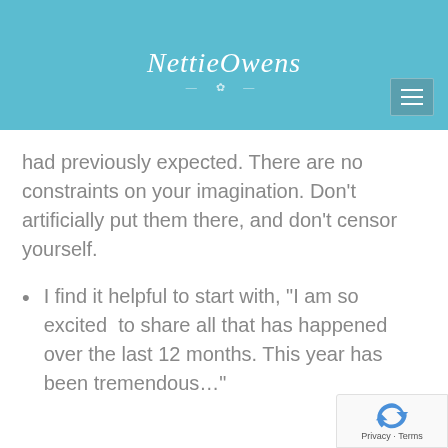[Figure (logo): NettieOwens script logo on teal header bar with decorative divider and hamburger menu icon]
had previously expected. There are no constraints on your imagination. Don’t artificially put them there, and don’t censor yourself.
I find it helpful to start with, “I am so excited  to share all that has happened over the last 12 months. This year has been tremendous…”